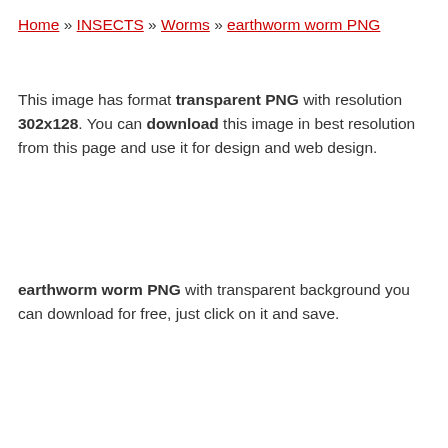Home » INSECTS » Worms » earthworm worm PNG
This image has format transparent PNG with resolution 302x128. You can download this image in best resolution from this page and use it for design and web design.
earthworm worm PNG with transparent background you can download for free, just click on it and save.